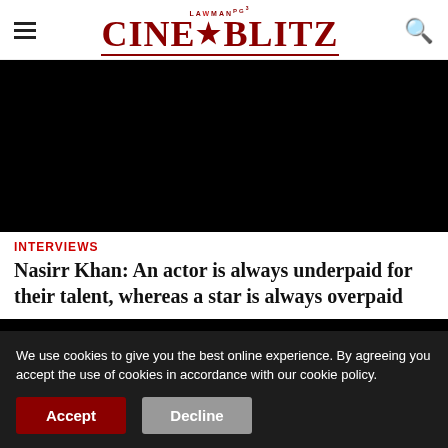CineBlitz – Lawman Pg3 – header with hamburger menu and search icon
[Figure (photo): Dark/black image placeholder at top of article]
INTERVIEWS
Nasirr Khan: An actor is always underpaid for their talent, whereas a star is always overpaid
[Figure (photo): Dark/black image placeholder below article title]
We use cookies to give you the best online experience. By agreeing you accept the use of cookies in accordance with our cookie policy.